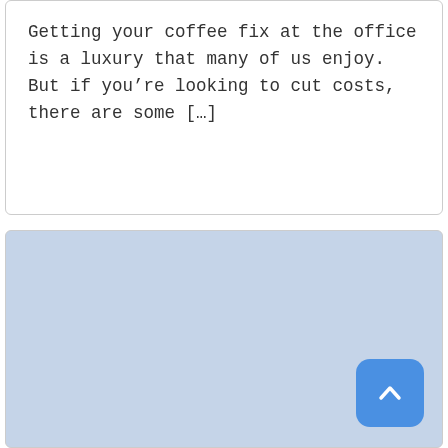Getting your coffee fix at the office is a luxury that many of us enjoy. But if you're looking to cut costs, there are some [...]
[Figure (other): A large light blue-gray placeholder card area with a blue rounded square scroll-to-top button in the bottom-right corner containing an upward chevron arrow.]